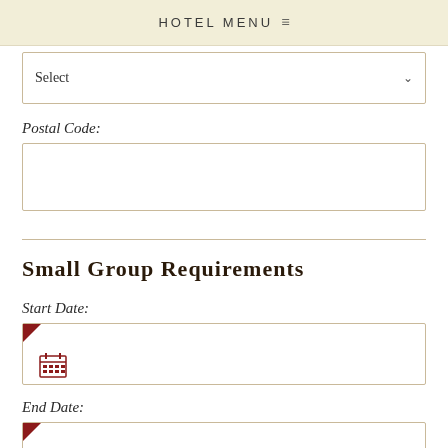HOTEL MENU
Select
Postal Code:
Small Group Requirements
Start Date:
End Date: